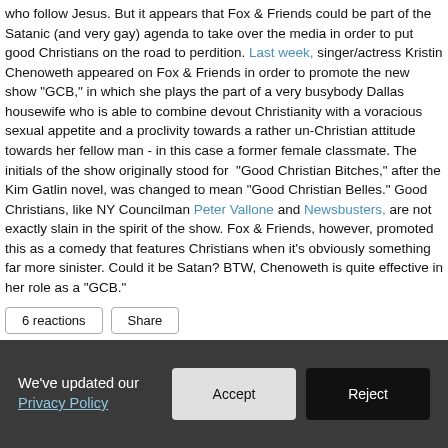who follow Jesus. But it appears that Fox & Friends could be part of the Satanic (and very gay) agenda to take over the media in order to put good Christians on the road to perdition. Last week, singer/actress Kristin Chenoweth appeared on Fox & Friends in order to promote the new show "GCB," in which she plays the part of a very busybody Dallas housewife who is able to combine devout Christianity with a voracious sexual appetite and a proclivity towards a rather un-Christian attitude towards her fellow man - in this case a former female classmate. The initials of the show originally stood for "Good Christian Bitches," after the Kim Gatlin novel, was changed to mean "Good Christian Belles." Good Christians, like NY Councilman Peter Vallone and Newsbusters, are not exactly slain in the spirit of the show. Fox & Friends, however, promoted this as a comedy that features Christians when it's obviously something far more sinister. Could it be Satan? BTW, Chenoweth is quite effective in her role as a "GCB."
6 reactions
Share
We've updated our Privacy Policy